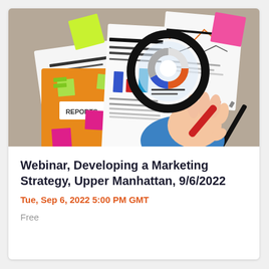[Figure (illustration): Illustration of a hand holding a magnifying glass over business reports and documents on a desk, with an orange folder labeled REPORTS, colorful sticky notes, charts, a pen, and a pencil.]
Webinar, Developing a Marketing Strategy, Upper Manhattan, 9/6/2022
Tue, Sep 6, 2022 5:00 PM GMT
Free